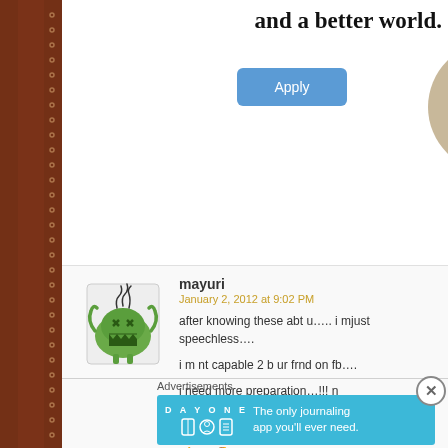and a better world.
[Figure (illustration): Blue Apply button]
[Figure (photo): Partially visible circular profile photo cropped at right edge]
[Figure (illustration): Pixel art monster avatar - green round creature with X eyes and tentacle-like arms]
mayuri
January 2, 2012 at 9:02 PM
after knowing these abt u….. i mjust speechless….

i m nt capable 2 b ur frnd on fb….

i need more preparation…!!! n
thanx 4 giving us specro n anavrit…!!
★ Like
👍 0 👎 0 ℹ Rate This
Advertisements
[Figure (screenshot): Day One journaling app advertisement banner - blue background with DAY ONE logo, icons, and text 'The only journaling app you'll ever need.']